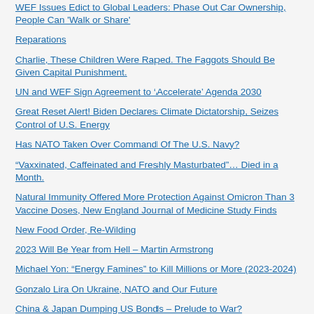WEF Issues Edict to Global Leaders: Phase Out Car Ownership, People Can 'Walk or Share'
Reparations
Charlie, These Children Were Raped. The Faggots Should Be Given Capital Punishment.
UN and WEF Sign Agreement to 'Accelerate' Agenda 2030
Great Reset Alert! Biden Declares Climate Dictatorship, Seizes Control of U.S. Energy
Has NATO Taken Over Command Of The U.S. Navy?
“Vaxxinated, Caffeinated and Freshly Masturbated”… Died in a Month.
Natural Immunity Offered More Protection Against Omicron Than 3 Vaccine Doses, New England Journal of Medicine Study Finds
New Food Order, Re-Wilding
2023 Will Be Year from Hell – Martin Armstrong
Michael Yon: “Energy Famines” to Kill Millions or More (2023-2024)
Gonzalo Lira On Ukraine, NATO and Our Future
China & Japan Dumping US Bonds – Prelude to War?
The Great Mystery Continues At The Tour de France. The Fittest